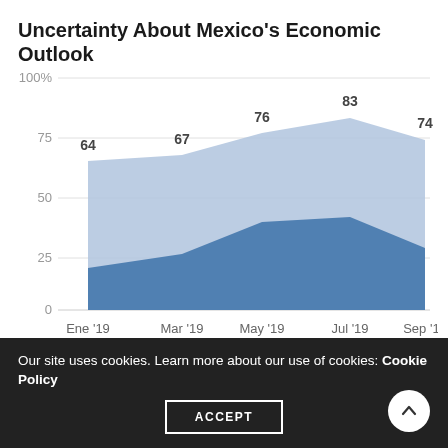Uncertainty About Mexico's Economic Outlook
[Figure (area-chart): Uncertainty About Mexico's Economic Outlook]
Uncertainty About Mexico's Political Outlook
Our site uses cookies. Learn more about our use of cookies: Cookie Policy